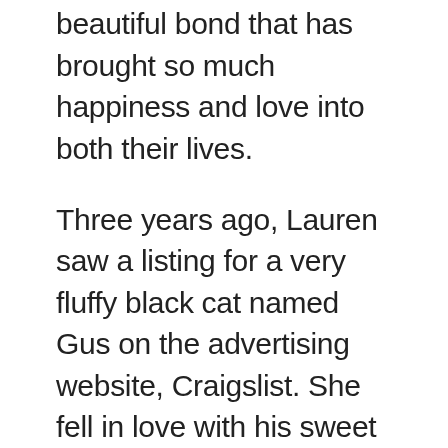they have formed a beautiful bond that has brought so much happiness and love into both their lives.
Three years ago, Lauren saw a listing for a very fluffy black cat named Gus on the advertising website, Craigslist. She fell in love with his sweet little face and decided to adopt him. When she went to pick him up, Lauren was surprised by his feisty nature, but that made her love him even more, a little fluffy ball of sass.
Having Gus in her life has had a huge positive impact on Lauren. He has helped to brighten her days, shown unconditional love, and is always able to make her laugh with his antics.
Gus continues to be a feisty ball of fluff. He loves Lauren immensely and even tries to protect her